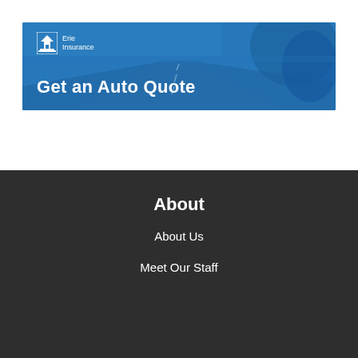[Figure (photo): Erie Insurance banner with blue color overlay showing a road and car side mirror. Text reads 'Get an Auto Quote' with Erie Insurance logo.]
About
About Us
Meet Our Staff